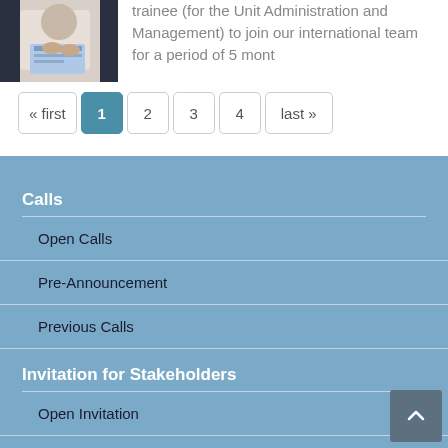[Figure (photo): Person in white shirt holding documents, partial view]
trainee (for the Unit Administration and Management) to join our international team for a period of 5 mont
« first  1  2  3  4  last »
Calls
Open Calls
Pre-Announcement
Previous Calls
Invitation for Stakeholders
Open Invitation
Previous Invitations
Stakeholder Cafe
Consultations